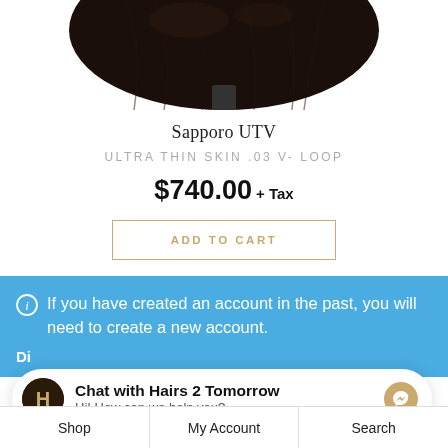[Figure (photo): Partial product photo showing dark brown/black hair system on a stand, cropped at top]
Sapporo UTV
ULTRA THIN SKIN .03 V- LOOP
$740.00 + Tax
ADD TO CART
If you have created an account in the past, you will need to create a new account.
Chat with Hairs 2 Tomorrow
Hi! How can we help you?
Shop | My Account | Search